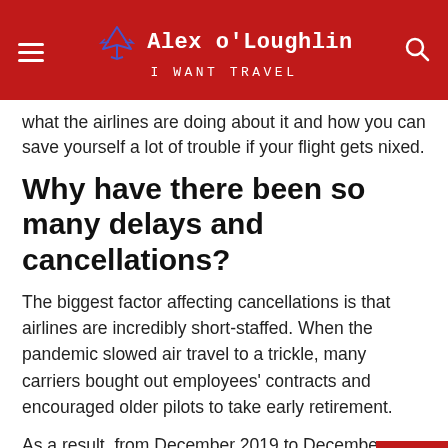Alex o'Loughlin | I WANT TRAVEL
what the airlines are doing about it and how you can save yourself a lot of trouble if your flight gets nixed.
Why have there been so many delays and cancellations?
The biggest factor affecting cancellations is that airlines are incredibly short-staffed. When the pandemic slowed air travel to a trickle, many carriers bought out employees' contracts and encouraged older pilots to take early retirement.
As a result, from December 2019 to December 2020, the number of airline workers shrunk by at least 114,000, according to the Bureau of Labor